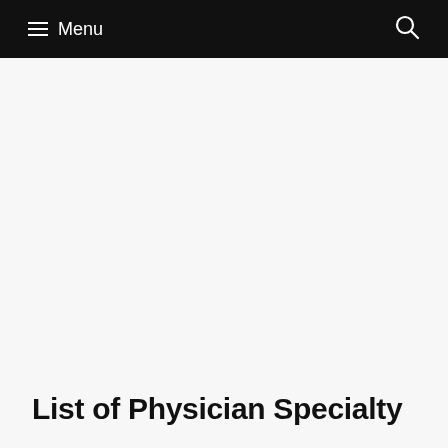Menu
List of Physician Specialty